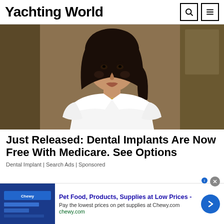Yachting World
[Figure (photo): Young woman with dark hair in a white top, photographed indoors against a warm brown/tan background]
Just Released: Dental Implants Are Now Free With Medicare. See Options
Dental Implant | Search Ads | Sponsored
Pet Food, Products, Supplies at Low Prices - Pay the lowest prices on pet supplies at Chewy.com chewy.com